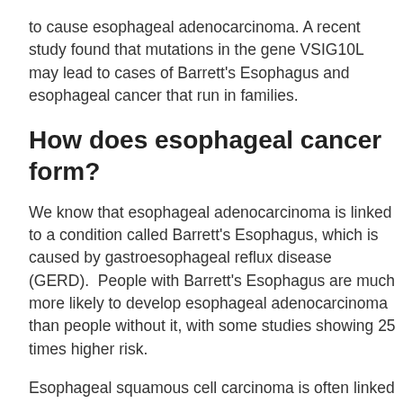to cause esophageal adenocarcinoma. A recent study found that mutations in the gene VSIG10L may lead to cases of Barrett's Esophagus and esophageal cancer that run in families.
How does esophageal cancer form?
We know that esophageal adenocarcinoma is linked to a condition called Barrett's Esophagus, which is caused by gastroesophageal reflux disease (GERD).  People with Barrett's Esophagus are much more likely to develop esophageal adenocarcinoma than people without it, with some studies showing 25 times higher risk.
Esophageal squamous cell carcinoma is often linked to smoking and drinking alcohol.
What is the prognosis for